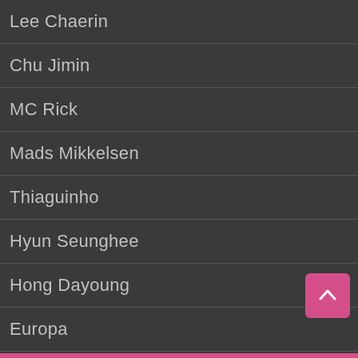Lee Chaerin
Chu Jimin
MC Rick
Mads Mikkelsen
Thiaguinho
Hyun Seunghee
Hong Dayoung
Europa
Nio Garcia
MONTHLY POPULAR
Jodhi Meares
Nam Woohyun
Jung Hyunwoo
Ardan Cha...